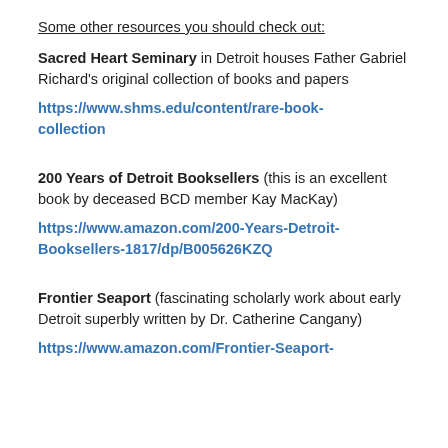Some other resources you should check out:
Sacred Heart Seminary in Detroit houses Father Gabriel Richard's original collection of books and papers
https://www.shms.edu/content/rare-book-collection
200 Years of Detroit Booksellers (this is an excellent book by deceased BCD member Kay MacKay)
https://www.amazon.com/200-Years-Detroit-Booksellers-1817/dp/B005626KZQ
Frontier Seaport (fascinating scholarly work about early Detroit superbly written by Dr. Catherine Cangany)
https://www.amazon.com/Frontier-Seaport-